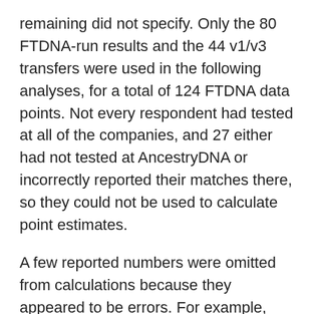remaining did not specify. Only the 80 FTDNA-run results and the 44 v1/v3 transfers were used in the following analyses, for a total of 124 FTDNA data points. Not every respondent had tested at all of the companies, and 27 either had not tested at AncestryDNA or incorrectly reported their matches there, so they could not be used to calculate point estimates.
A few reported numbers were omitted from calculations because they appeared to be errors. For example, one respondent reported 1424 matches at MyHeritage, when the next highest number was 667. That respondent did not report a value for 23andMe at all, and I assumed that 1424 had been entered in the wrong field. Another respondent filled out the